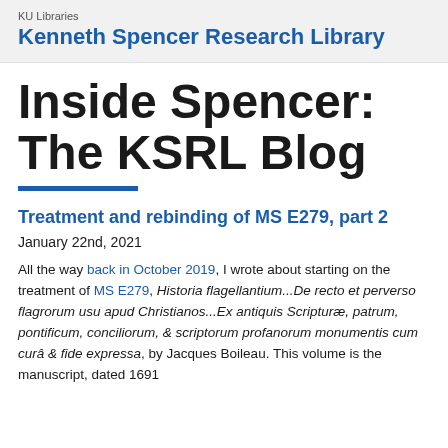KU Libraries
Kenneth Spencer Research Library
Inside Spencer: The KSRL Blog
Treatment and rebinding of MS E279, part 2
January 22nd, 2021
All the way back in October 2019, I wrote about starting on the treatment of MS E279, Historia flagellantium...De recto et perverso flagrorum usu apud Christianos...Ex antiquis Scripturæ, patrum, pontificum, conciliorum, & scriptorum profanorum monumentis cum curâ & fide expressa, by Jacques Boileau. This volume is the manuscript, dated 1691 and with annotations believed to be in the author's